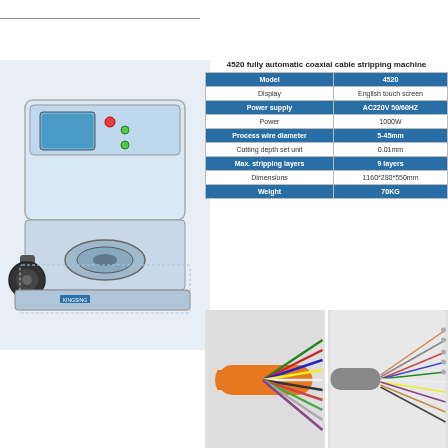4520 fully automatic coaxial cable stripping machine
| Model | 4520 |
| --- | --- |
| Display | English touch screen |
| Power supply | AC220V 50/60HZ |
| Power | 1000W |
| Process wire diameter | 5-45mm |
| Cutting depth set unit | 0.01mm |
| Max. stripping layers | 9 layers |
| Dimensions | 1160*280*550mm |
| Weight | 70KG |
[Figure (photo): 4520 fully automatic coaxial cable stripping machine photo]
[Figure (photo): Close-up photo of stripped multi-colored cable bundle]
[Figure (photo): Close-up photo of stripped wire ends with thin wires]